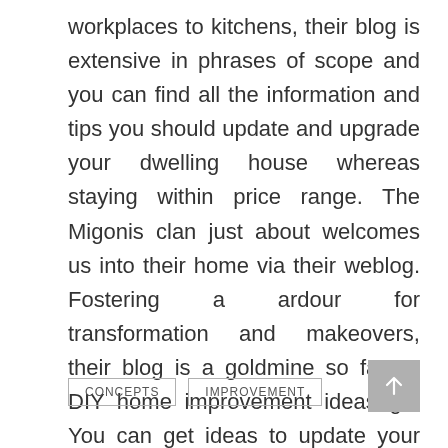workplaces to kitchens, their blog is extensive in phrases of scope and you can find all the information and tips you should update and upgrade your dwelling house whereas staying within price range. The Migonis clan just about welcomes us into their home via their weblog. Fostering a ardour for transformation and makeovers, their blog is a goldmine so far as DIY home improvement ideas go. You can get ideas to update your lounge as well as discover ideas for craft initiatives they've completed.
CONCEPTS
IMPROVEMENT